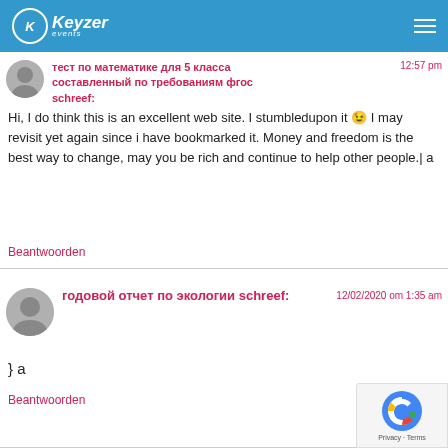Keyzer events
тест по математике для 5 класса составленный по требованиям фгос schreef:
Hi, I do think this is an excellent web site. I stumbledupon it 😉 I may revisit yet again since i have bookmarked it. Money and freedom is the best way to change, may you be rich and continue to help other people.| a
Beantwoorden
годовой отчет по экологии schreef:
12/02/2020 om 1:35 am
} a
Beantwoorden